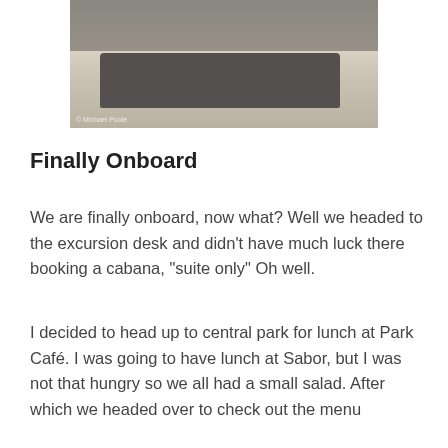[Figure (photo): Interior photo of an airport or cruise ship terminal showing bench seating/chairs on a shiny floor, with watermark '© Michael Poole']
Finally Onboard
We are finally onboard, now what? Well we headed to the excursion desk and didn't have much luck there booking a cabana, “suite only” Oh well.
I decided to head up to central park for lunch at Park Café. I was going to have lunch at Sabor, but I was not that hungry so we all had a small salad. After which we headed over to check out the menu